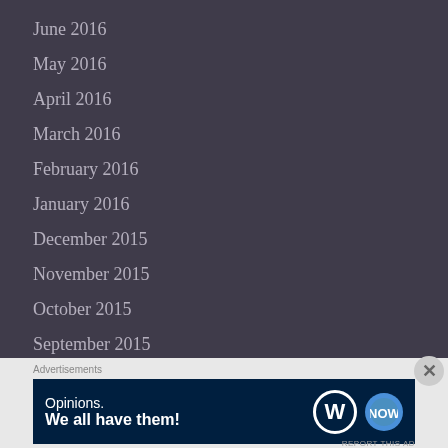June 2016
May 2016
April 2016
March 2016
February 2016
January 2016
December 2015
November 2015
October 2015
September 2015
August 2015
Advertisements
[Figure (screenshot): Advertisement banner: 'Opinions. We all have them!' with WordPress and another logo on dark navy background]